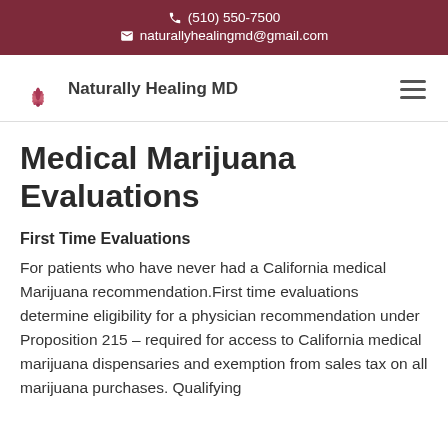(510) 550-7500
naturallyhealingmd@gmail.com
[Figure (logo): Naturally Healing MD lotus flower logo with text 'Naturally Healing MD' and hamburger menu icon]
Medical Marijuana Evaluations
First Time Evaluations
For patients who have never had a California medical Marijuana recommendation.First time evaluations determine eligibility for a physician recommendation under Proposition 215 – required for access to California medical marijuana dispensaries and exemption from sales tax on all marijuana purchases. Qualifying